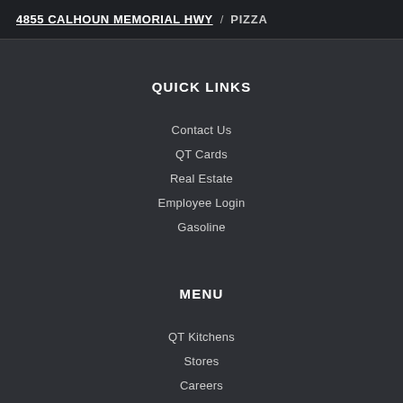4855 CALHOUN MEMORIAL HWY / PIZZA
QUICK LINKS
Contact Us
QT Cards
Real Estate
Employee Login
Gasoline
MENU
QT Kitchens
Stores
Careers
About